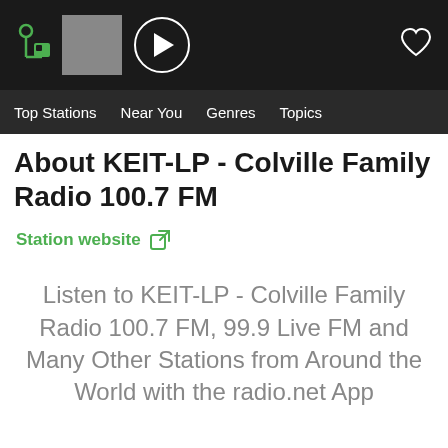[Figure (screenshot): App top navigation bar with radio.net logo (green), station thumbnail (gray), play button (circle with triangle), and heart/favorite icon on the right, on dark background]
Top Stations  Near You  Genres  Topics
About KEIT-LP - Colville Family Radio 100.7 FM
Station website
Listen to KEIT-LP - Colville Family Radio 100.7 FM, 99.9 Live FM and Many Other Stations from Around the World with the radio.net App